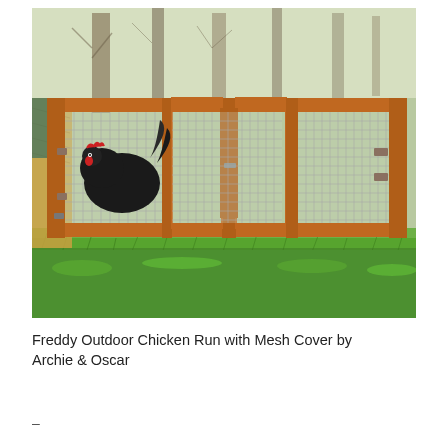[Figure (photo): Outdoor wooden chicken run with wire mesh panels and two hinged doors. A black chicken is visible inside the enclosure. The structure sits on green grass with trees in the background.]
Freddy Outdoor Chicken Run with Mesh Cover by Archie & Oscar
–